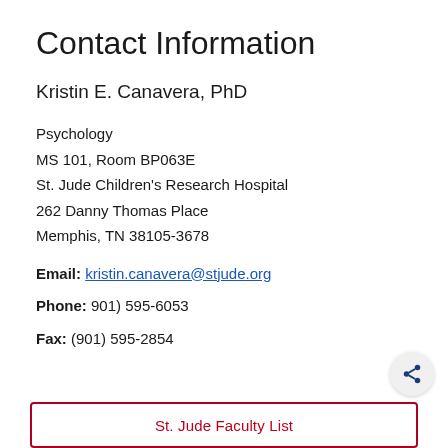Contact Information
Kristin E. Canavera, PhD
Psychology
MS 101, Room BP063E
St. Jude Children's Research Hospital
262 Danny Thomas Place
Memphis, TN 38105-3678
Email: kristin.canavera@stjude.org
Phone: 901) 595-6053
Fax: (901) 595-2854
St. Jude Faculty List